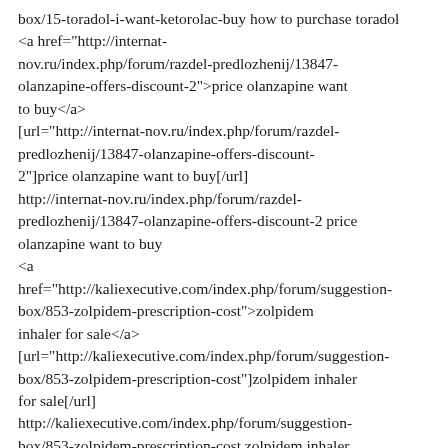box/15-toradol-i-want-ketorolac-buy how to purchase toradol
<a href="http://internat-nov.ru/index.php/forum/razdel-predlozhenij/13847-olanzapine-offers-discount-2">price olanzapine want to buy</a>
[url="http://internat-nov.ru/index.php/forum/razdel-predlozhenij/13847-olanzapine-offers-discount-2"]price olanzapine want to buy[/url]
http://internat-nov.ru/index.php/forum/razdel-predlozhenij/13847-olanzapine-offers-discount-2 price olanzapine want to buy
<a href="http://kaliexecutive.com/index.php/forum/suggestion-box/853-zolpidem-prescription-cost">zolpidem inhaler for sale</a>
[url="http://kaliexecutive.com/index.php/forum/suggestion-box/853-zolpidem-prescription-cost"]zolpidem inhaler for sale[/url]
http://kaliexecutive.com/index.php/forum/suggestion-box/853-zolpidem-prescription-cost zolpidem inhaler for sale
<a href="http://internat-nov.ru/index.php/forum/razdel-predlozhenij/13850-toprol-betaloc-mail-order">generic shop